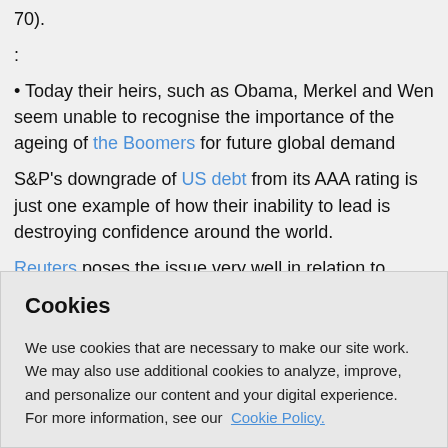70).
:
• Today their heirs, such as Obama, Merkel and Wen seem unable to recognise the importance of the ageing of the Boomers for future global demand
S&P's downgrade of US debt from its AAA rating is just one example of how their inability to lead is destroying confidence around the world.
Reuters poses the issue very well in relation to financial markets. They comment that:
“If one thinks:
• “ We really are going to enter a double-dip recession, then stocks are not remotely attractive at these levels
Cookies
We use cookies that are necessary to make our site work. We may also use additional cookies to analyze, improve, and personalize our content and your digital experience. For more information, see our Cookie Policy.